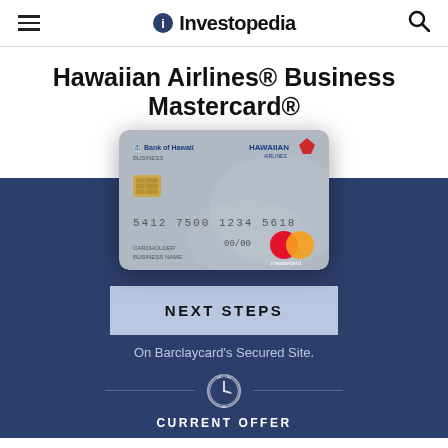Investopedia
Hawaiian Airlines® Business Mastercard®
OVERALL RATING 2.3
[Figure (photo): Hawaiian Airlines Business Mastercard credit card image with Bank of Hawaii branding and Mastercard logo]
NEXT STEPS
On Barclaycard's Secured Site.
CURRENT OFFER